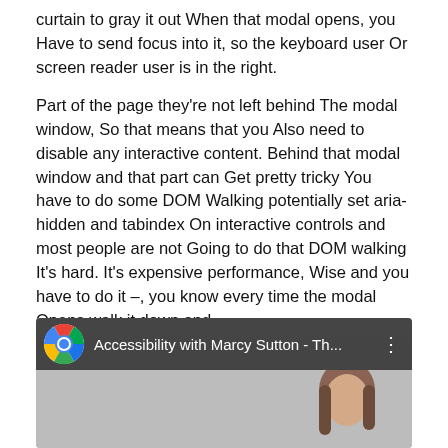curtain to gray it out When that modal opens, you Have to send focus into it, so the keyboard user Or screen reader user is in the right.
Part of the page they're not left behind The modal window, So that means that you Also need to disable any interactive content. Behind that modal window and that part can Get pretty tricky You have to do some DOM Walking potentially set aria-hidden and tabindex On interactive controls and most people are not Going to do that DOM walking It's hard. It's expensive performance, Wise and you have to do it –, you know every time the modal Opens walk it down and –.
[Figure (screenshot): YouTube video thumbnail showing Chrome browser icon and title 'Accessibility with Marcy Sutton - Th...' with a person visible in the lower right]